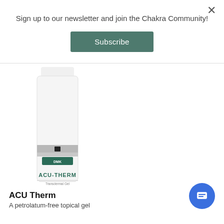Sign up to our newsletter and join the Chakra Community!
Subscribe
[Figure (photo): DMK ACU-THERM product bottle, white cylindrical airless pump container with silver band and green label]
ACU Therm
A petrolatum-free topical gel